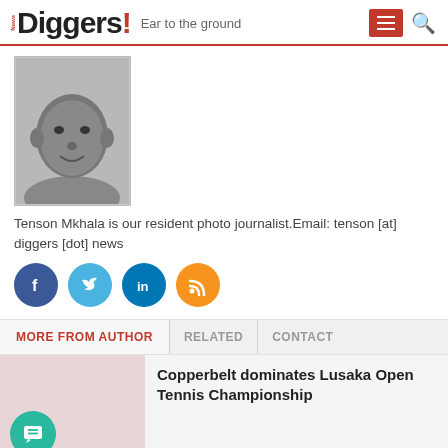News Diggers! Ear to the ground
[Figure (photo): Black and white headshot portrait of Tenson Mkhala, a man looking slightly to the side]
Tenson Mkhala is our resident photo journalist.Email: tenson [at] diggers [dot] news
[Figure (infographic): Social media icons: Facebook (dark blue), Twitter (light blue), LinkedIn (blue), RSS (orange)]
MORE FROM AUTHOR | RELATED | CONTACT
Copperbelt dominates Lusaka Open Tennis Championship